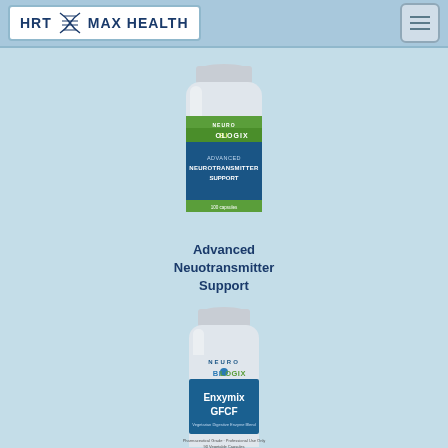HRT MAX HEALTH
[Figure (photo): Neuro Biologix Advanced Neurotransmitter Support supplement bottle]
Advanced Neuotransmitter Support
[Figure (photo): Neuro Biologix Enxymix GFCF vegetarian digestive enzyme blend supplement bottle]
Enxymix